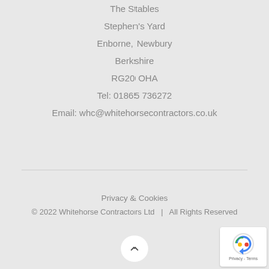The Stables
Stephen's Yard
Enborne, Newbury
Berkshire
RG20 OHA
Tel: 01865 736272
Email: whc@whitehorsecontractors.co.uk
Privacy & Cookies
© 2022 Whitehorse Contractors Ltd   |   All Rights Reserved